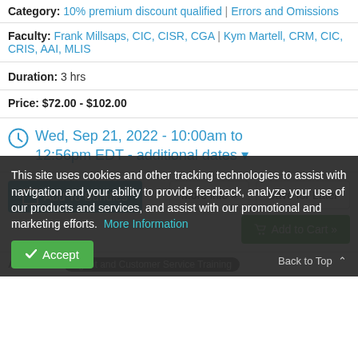Category: 10% premium discount qualified | Errors and Omissions
Faculty: Frank Millsaps, CIC, CISR, CGA | Kym Martell, CRM, CIC, CRIS, AAI, MLIS
Duration: 3 hrs
Price: $72.00 - $102.00
Wed, Sep 21, 2022 - 10:00am to 12:56pm EDT - additional dates
Add To Bundles | More info » | Save for Later | Add to Cart »
Audience: Agent and Customer Service Training
This site uses cookies and other tracking technologies to assist with navigation and your ability to provide feedback, analyze your use of our products and services, and assist with our promotional and marketing efforts. More Information
Accept
Back to Top